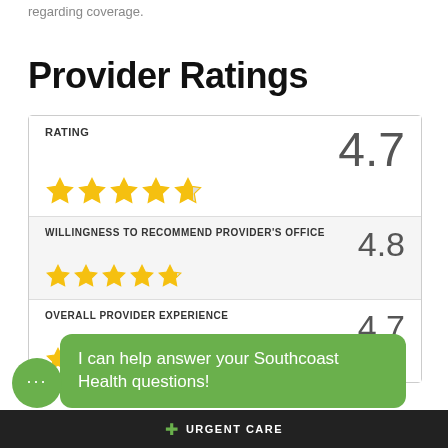regarding coverage.
Provider Ratings
| Category | Stars | Score |
| --- | --- | --- |
| RATING | 4.7 stars | 4.7 |
| WILLINGNESS TO RECOMMEND PROVIDER'S OFFICE | 4.8 stars | 4.8 |
| OVERALL PROVIDER EXPERIENCE | 4.7 stars | 4.7 |
I can help answer your Southcoast Health questions!
URGENT CARE